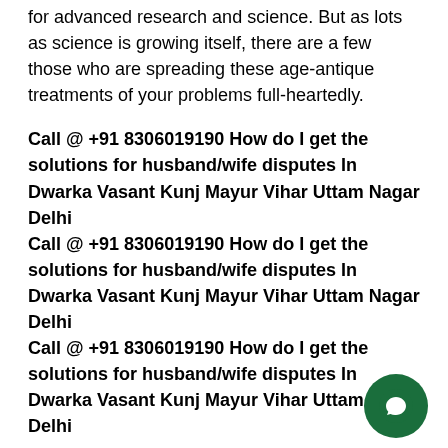for advanced research and science. But as lots as science is growing itself, there are a few those who are spreading these age-antique treatments of your problems full-heartedly.
Call @ +91 8306019190 How do I get the solutions for husband/wife disputes In Dwarka Vasant Kunj Mayur Vihar Uttam Nagar Delhi
Call @ +91 8306019190 How do I get the solutions for husband/wife disputes In Dwarka Vasant Kunj Mayur Vihar Uttam Nagar Delhi
Call @ +91 8306019190 How do I get the solutions for husband/wife disputes In Dwarka Vasant Kunj Mayur Vihar Uttam Nagar Delhi
How do I get the solutions for husband/wife disputes In Dwarka Vasant Kunj Mayur Vihar Uttam Nagar Delhi Call/Whatsapp on +91 8306019190 Pt. N.